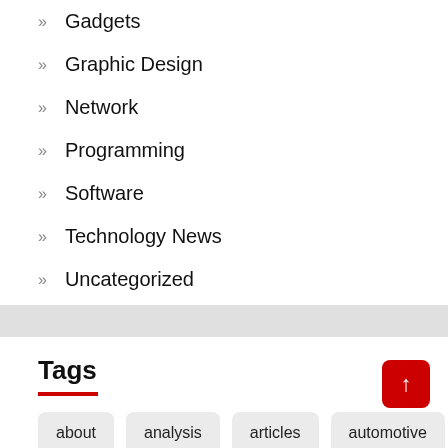Gadgets
Graphic Design
Network
Programming
Software
Technology News
Uncategorized
Tags
about
analysis
articles
automotive